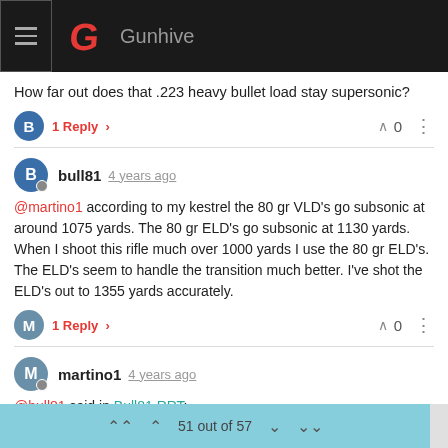Gunhive
How far out does that .223 heavy bullet load stay supersonic?
1 Reply
bull81 4 years ago
@martino1 according to my kestrel the 80 gr VLD's go subsonic at around 1075 yards. The 80 gr ELD's go subsonic at 1130 yards. When I shoot this rifle much over 1000 yards I use the 80 gr ELD's. The ELD's seem to handle the transition much better. I've shot the ELD's out to 1355 yards accurately.
1 Reply
martino1 4 years ago
@bull81 said in Bull81 RRT:
51 out of 57